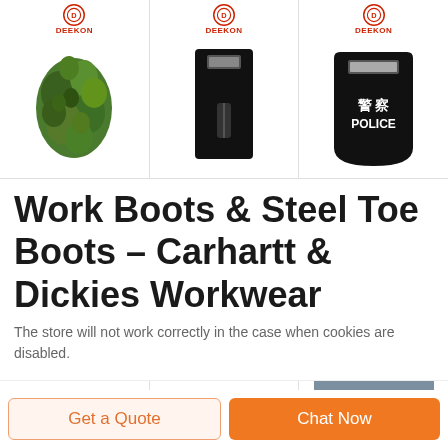[Figure (photo): Three product images in a row: (1) Camouflage net/ghillie suit with DEEKON logo, (2) Black rectangular riot shield with handle and DEEKON logo, (3) Black police shield with Chinese characters 警察 and POLICE text with DEEKON logo]
Work Boots & Steel Toe Boots – Carhartt & Dickies Workwear
The store will not work correctly in the case when cookies are disabled.
[Figure (photo): Partial bottom strip showing two DEEKON logo icons and one product photo (partial fabric/clothing image)]
Get a Quote
Chat Now